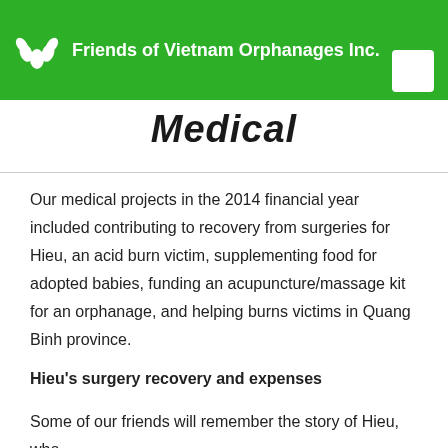Friends of Vietnam Orphanages Inc.
Medical
Our medical projects in the 2014 financial year included contributing to recovery from surgeries for Hieu, an acid burn victim, supplementing food for adopted babies, funding an acupuncture/massage kit for an orphanage, and helping burns victims in Quang Binh province.
Hieu's surgery recovery and expenses
Some of our friends will remember the story of Hieu, who